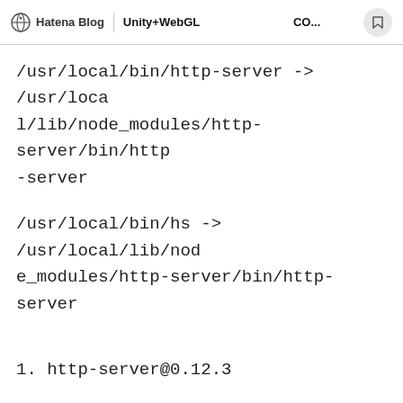Hatena Blog | Unity+WebGL…CO…
/usr/local/bin/http-server -> /usr/local/lib/node_modules/http-server/bin/http-server
/usr/local/bin/hs -> /usr/local/lib/node_modules/http-server/bin/http-server
1. http-server@0.12.3
added 23 packages from 35 contributors